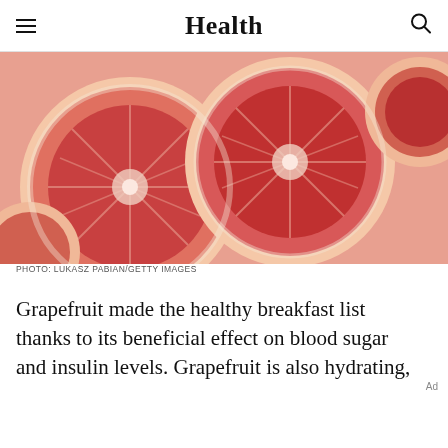Health
[Figure (photo): Close-up photograph of multiple sliced grapefruits showing their pink/red flesh and white pith, filling the entire frame.]
PHOTO: LUKASZ PABIAN/GETTY IMAGES
Grapefruit made the healthy breakfast list thanks to its beneficial effect on blood sugar and insulin levels. Grapefruit is also hydrating,